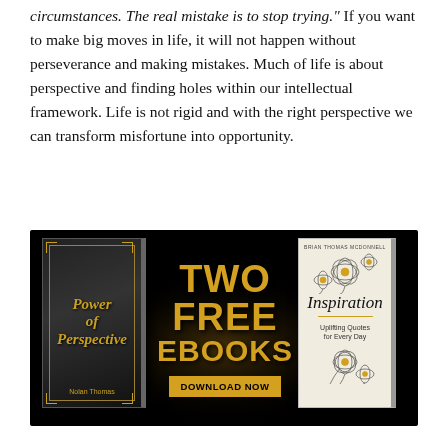circumstances. The real mistake is to stop trying." If you want to make big moves in life, it will not happen without perseverance and making mistakes.  Much of life is about perspective and finding holes within our intellectual framework.  Life is not rigid and with the right perspective we can transform misfortune into opportunity.
[Figure (illustration): Advertisement banner on black background showing two book covers: 'Power of Perspective' by Nolan Thomas (dark cover with gold gothic text) on the left, and 'Inspiration: Uplifting Quotes for Every Day' by Brian Thomas McDonnell (white cover with floral illustration) on the right. Center text reads 'TWO FREE EBOOKS' in large gold letters with a 'DOWNLOAD NOW' button.]